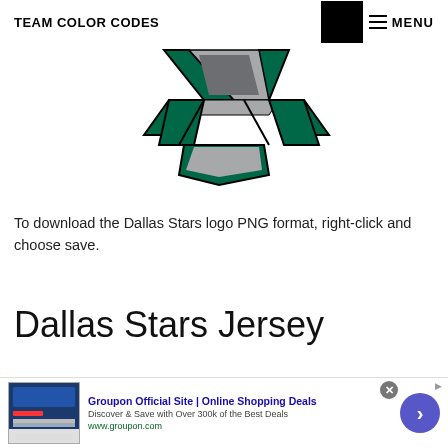TEAM COLOR CODES | MENU
[Figure (logo): Dallas Stars NHL hockey team logo — a star shape in green with grey/silver and black accents, forming a stylized letter 'S' or star symbol]
To download the Dallas Stars logo PNG format, right-click and choose save.
Dallas Stars Jersey
The Dallas Stars jersey colors are Victory green
[Figure (screenshot): Groupon advertisement banner: 'Groupon Official Site | Online Shopping Deals — Discover & Save with Over 300k of the Best Deals — www.groupon.com', with close button and arrow button]